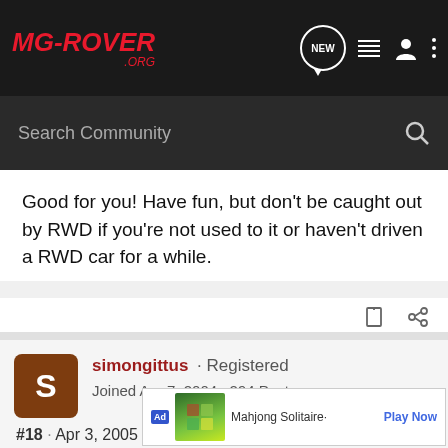MG-ROVER.ORG — Search Community
Good for you! Have fun, but don't be caught out by RWD if you're not used to it or haven't driven a RWD car for a while.
simongittus · Registered
Joined Apr 7, 2004 · 294 Posts
#18 · Apr 3, 2005
MGCrazeee said:
Do they actually sell these in the UK still? I saw what is possibly only my 3rd... Obviously... survey...